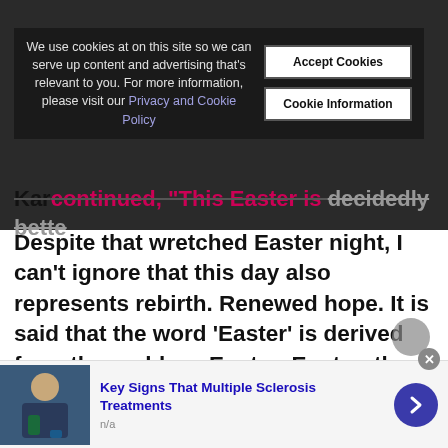We use cookies at on this site so we can serve up content and advertising that's relevant to you. For more information, please visit our Privacy and Cookie Policy
Accept Cookies
Cookie Information
Kar continued, “This Easter is decidedly better. Despite that wretched Easter night, I can’t ignore that this day also represents rebirth. Renewed hope. It is said that the word ‘Easter’ is derived from the goddess Eostre. Eostre, the goddess of fertility, symbolizes the birth of new life and the dawn of spring. And so it is for us.” The post features three photos of Easter baskets. One for Decker. One for McCoy. And one with a little rainbow onesie.
Key Signs That Multiple Sclerosis Treatments
n/a